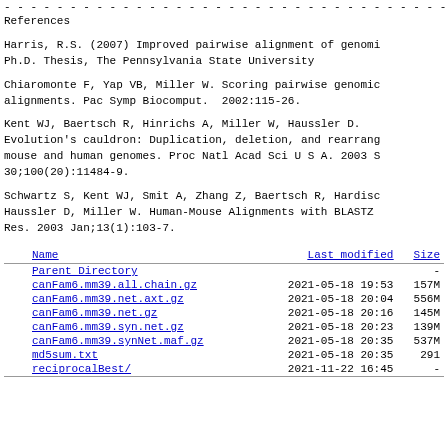References
Harris, R.S. (2007) Improved pairwise alignment of genomic... Ph.D. Thesis, The Pennsylvania State University
Chiaromonte F, Yap VB, Miller W. Scoring pairwise genomic alignments. Pac Symp Biocomput. 2002:115-26.
Kent WJ, Baertsch R, Hinrichs A, Miller W, Haussler D. Evolution's cauldron: Duplication, deletion, and rearrangement of the mouse and human genomes. Proc Natl Acad Sci U S A. 2003 Sep 30;100(20):11484-9.
Schwartz S, Kent WJ, Smit A, Zhang Z, Baertsch R, Hardison RC, Haussler D, Miller W. Human-Mouse Alignments with BLASTZ. Genome Res. 2003 Jan;13(1):103-7.
| Name | Last modified | Size |
| --- | --- | --- |
| Parent Directory |  | - |
| canFam6.mm39.all.chain.gz | 2021-05-18 19:53 | 157M |
| canFam6.mm39.net.axt.gz | 2021-05-18 20:04 | 556M |
| canFam6.mm39.net.gz | 2021-05-18 20:16 | 145M |
| canFam6.mm39.syn.net.gz | 2021-05-18 20:23 | 139M |
| canFam6.mm39.synNet.maf.gz | 2021-05-18 20:35 | 537M |
| md5sum.txt | 2021-05-18 20:35 | 291 |
| reciprocalBest/ | 2021-11-22 16:45 | - |